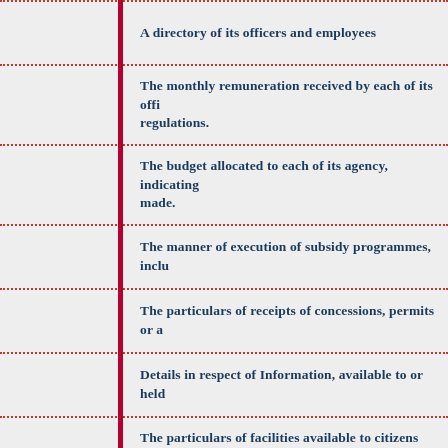A directory of its officers and employees
The monthly remuneration received by each of its offi regulations.
The budget allocated to each of its agency, indicating made.
The manner of execution of subsidy programmes, inclu
The particulars of receipts of concessions, permits or a
Details in respect of Information, available to or held
The particulars of facilities available to citizens for ob maintain for public use.